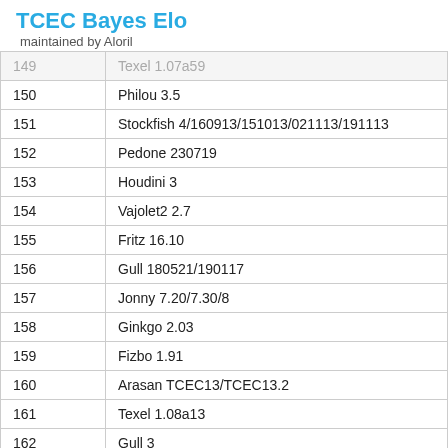TCEC Bayes Elo
maintained by Aloril
| # | Engine |
| --- | --- |
| 149 | Texel 1.07a59 |
| 150 | Philou 3.5 |
| 151 | Stockfish 4/160913/151013/021113/191113 |
| 152 | Pedone 230719 |
| 153 | Houdini 3 |
| 154 | Vajolet2 2.7 |
| 155 | Fritz 16.10 |
| 156 | Gull 180521/190117 |
| 157 | Jonny 7.20/7.30/8 |
| 158 | Ginkgo 2.03 |
| 159 | Fizbo 1.91 |
| 160 | Arasan TCEC13/TCEC13.2 |
| 161 | Texel 1.08a13 |
| 162 | Gull 3 |